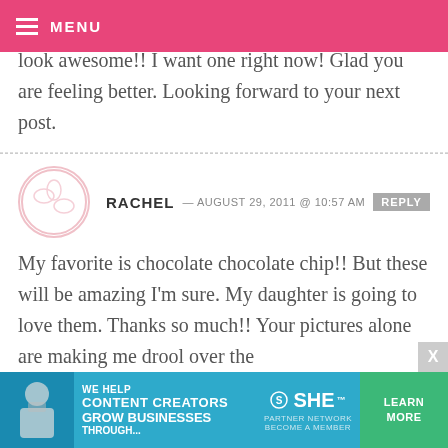MENU
chocolate chip or pumpkin chocolate chip. These look awesome!! I want one right now! Glad you are feeling better. Looking forward to your next post.
RACHEL — AUGUST 29, 2011 @ 10:57 AM  REPLY
My favorite is chocolate chocolate chip!! But these will be amazing I'm sure. My daughter is going to love them. Thanks so much!! Your pictures alone are making me drool over the
[Figure (infographic): SHE Partner Network advertisement banner: WE HELP CONTENT CREATORS GROW BUSINESSES THROUGH... with a LEARN MORE button]